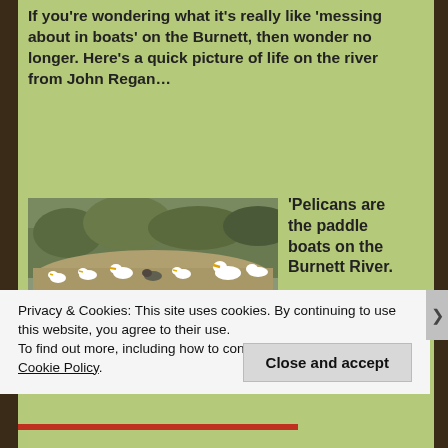If you're wondering what it's really like 'messing about in boats' on the Burnett, then wonder no longer. Here's a quick picture of life on the river from John Regan…
[Figure (photo): Pelicans and seagulls standing on a mudflat/sandbank beside a river, with vegetation in the background and a pelican swimming in the foreground water.]
'Pelicans are the paddle boats on the Burnett River.
Privacy & Cookies: This site uses cookies. By continuing to use this website, you agree to their use.
To find out more, including how to control cookies, see here: Cookie Policy
Close and accept